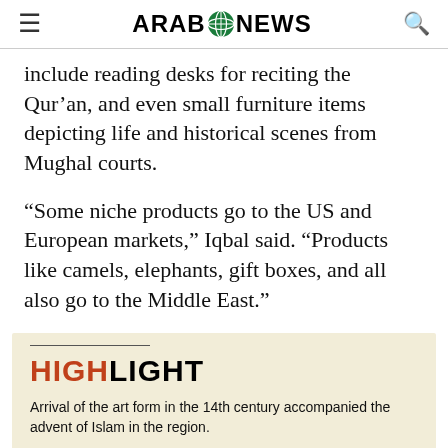Arab News
include reading desks for reciting the Qur'an, and even small furniture items depicting life and historical scenes from Mughal courts.
“Some niche products go to the US and European markets,” Iqbal said. “Products like camels, elephants, gift boxes, and all also go to the Middle East.”
HIGHLIGHT
Arrival of the art form in the 14th century accompanied the advent of Islam in the region.